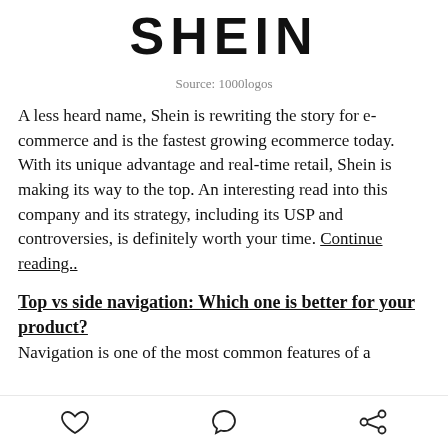[Figure (logo): SHEIN logo in bold black uppercase letters]
Source: 1000logos
A less heard name, Shein is rewriting the story for e-commerce and is the fastest growing ecommerce today. With its unique advantage and real-time retail, Shein is making its way to the top. An interesting read into this company and its strategy, including its USP and controversies, is definitely worth your time. Continue reading..
Top vs side navigation: Which one is better for your product?
Navigation is one of the most common features of a product...
[heart icon] [comment icon] [share icon]